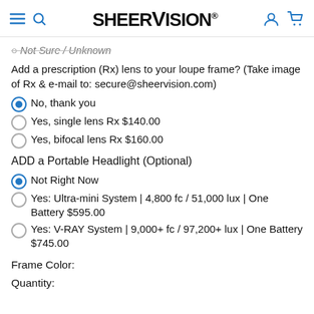SHEERVISION®
Not Sure / Unknown
Add a prescription (Rx) lens to your loupe frame? (Take image of Rx & e-mail to: secure@sheervision.com)
No, thank you
Yes, single lens Rx $140.00
Yes, bifocal lens Rx $160.00
ADD a Portable Headlight (Optional)
Not Right Now
Yes: Ultra-mini System | 4,800 fc / 51,000 lux | One Battery $595.00
Yes: V-RAY System | 9,000+ fc / 97,200+ lux | One Battery $745.00
Frame Color:
Quantity: